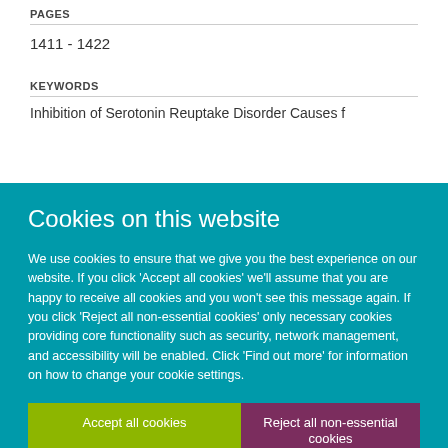PAGES
1411 - 1422
KEYWORDS
Inhibition of Serotonin Reuptake Disorder Causes f…
Cookies on this website

We use cookies to ensure that we give you the best experience on our website. If you click 'Accept all cookies' we'll assume that you are happy to receive all cookies and you won't see this message again. If you click 'Reject all non-essential cookies' only necessary cookies providing core functionality such as security, network management, and accessibility will be enabled. Click 'Find out more' for information on how to change your cookie settings.

Accept all cookies | Reject all non-essential cookies